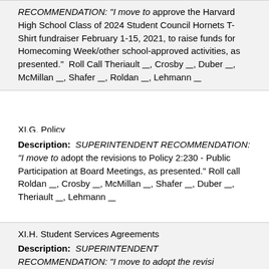RECOMMENDATION: "I move to approve the Harvard High School Class of 2024 Student Council Hornets T-Shirt fundraiser February 1-15, 2021, to raise funds for Homecoming Week/other school-approved activities, as presented."  Roll Call Theriault ___, Crosby ___, Duber ___, McMillan ___, Shafer ___, Roldan ___, Lehmann ___
XI.G. Policy
Description:  SUPERINTENDENT RECOMMENDATION: "I move to adopt the revisions to Policy 2:230 - Public Participation at Board Meetings, as presented." Roll call Roldan ___, Crosby ___, McMillan ___, Shafer ___, Duber ___,  Theriault ___, Lehmann ___
XI.H. Student Services Agreements
Description:  SUPERINTENDENT RECOMMENDATION: